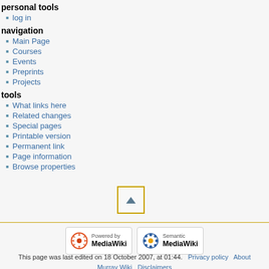personal tools
log in
navigation
Main Page
Courses
Events
Preprints
Projects
tools
What links here
Related changes
Special pages
Printable version
Permanent link
Page information
Browse properties
[Figure (other): Scroll to top button with upward triangle arrow, bordered in gold/yellow]
[Figure (logo): Powered by MediaWiki badge logo]
[Figure (logo): Semantic MediaWiki badge logo]
This page was last edited on 18 October 2007, at 01:44.   Privacy policy   About   Murray Wiki   Disclaimers